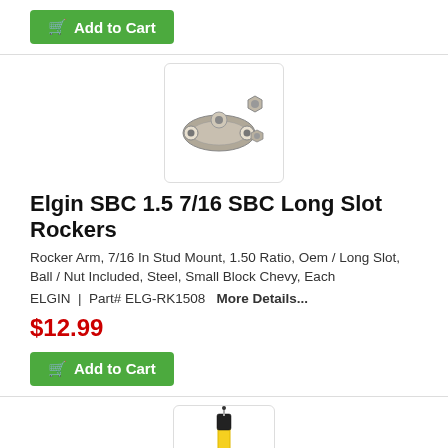[Figure (other): Green Add to Cart button with shopping cart icon]
[Figure (photo): Product photo of Elgin SBC 1.5 7/16 SBC Long Slot Rockers rocker arm with ball and nut]
Elgin SBC 1.5 7/16 SBC Long Slot Rockers
Rocker Arm, 7/16 In Stud Mount, 1.50 Ratio, Oem / Long Slot, Ball / Nut Included, Steel, Small Block Chevy, Each
ELGIN  |  Part# ELG-RK1508   More Details...
$12.99
[Figure (other): Green Add to Cart button with shopping cart icon]
[Figure (photo): Product photo of a yellow tool/probe with black tip]